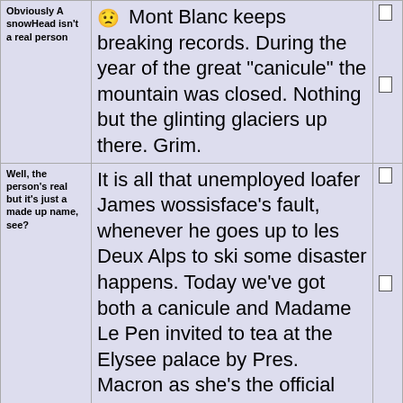| Obviously A snowHead isn't a real person | 😟 Mont Blanc keeps breaking records. During the year of the great "canicule" the mountain was closed. Nothing but the glinting glaciers up there. Grim. |  |
| Well, the person's real but it's just a made up name, see? | It is all that unemployed loafer James wossisface's fault, whenever he goes up to les Deux Alps to ski some disaster happens. Today we've got both a canicule and Madame Le Pen invited to tea at the Elysee palace by Pres. Macron as she's the official leader of the opposition in Parliament. |  |
| You need to Login to know who's really who. | davidof wrote:
[quoted text] |  |